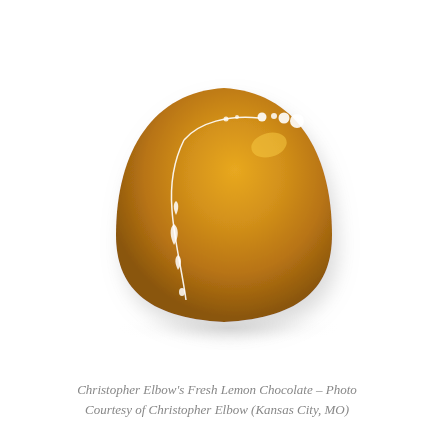[Figure (photo): A rounded dome-shaped chocolate bonbon coated in glossy golden-yellow/amber colored chocolate. The surface has decorative white dots and a curving white line design running across it. The chocolate casts a soft shadow beneath it on a white background.]
Christopher Elbow's Fresh Lemon Chocolate – Photo Courtesy of Christopher Elbow (Kansas City, MO)